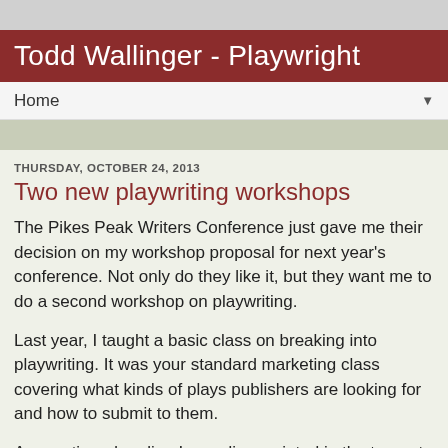Todd Wallinger - Playwright
Home
THURSDAY, OCTOBER 24, 2013
Two new playwriting workshops
The Pikes Peak Writers Conference just gave me their decision on my workshop proposal for next year's conference. Not only do they like it, but they want me to do a second workshop on playwriting.
Last year, I taught a basic class on breaking into playwriting. It was your standard marketing class covering what kinds of plays publishers are looking for and how to submit to them.
As mentioned earlier, I was disappointed in the turnout. Only six people showed up, although I have to admit they were a